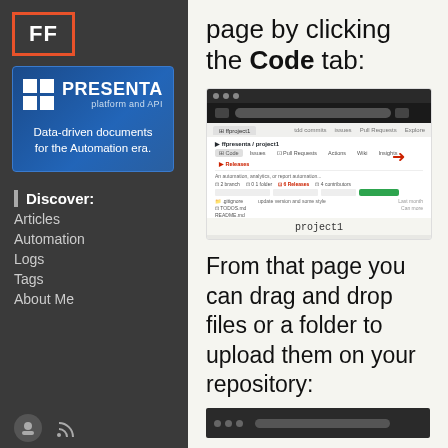[Figure (logo): FF logo in orange-bordered box on dark sidebar]
[Figure (logo): PRESENTA platform and API banner with blue gradient background, white grid squares logo, text: Data-driven documents for the Automation era.]
page by clicking the Code tab:
[Figure (screenshot): GitHub repository page screenshot showing the Code tab with a red arrow pointing to it, and project1 label below]
Discover:
Articles
Automation
Logs
Tags
About Me
From that page you can drag and drop files or a folder to upload them on your repository:
[Figure (screenshot): Bottom partial screenshot of another GitHub page]